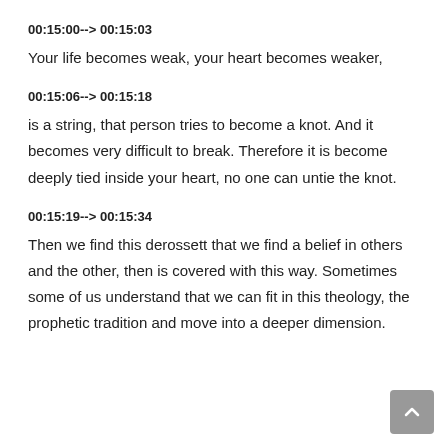00:15:00--> 00:15:03
Your life becomes weak, your heart becomes weaker,
00:15:06--> 00:15:18
is a string, that person tries to become a knot. And it becomes very difficult to break. Therefore it is become deeply tied inside your heart, no one can untie the knot.
00:15:19--> 00:15:34
Then we find this derossett that we find a belief in others and the other, then is covered with this way. Sometimes some of us understand that we can fit in this theology, the prophetic tradition and move into a deeper dimension.